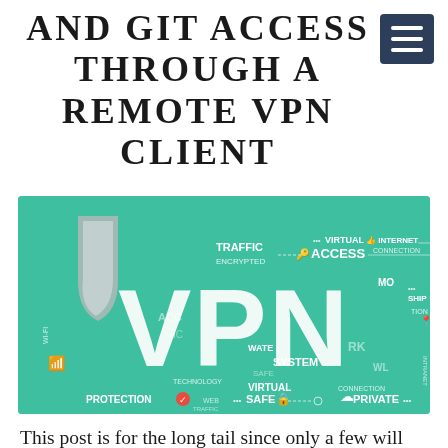AND GIT ACCESS THROUGH A REMOTE VPN CLIENT
[Figure (infographic): VPN infographic on a teal/green background featuring large white bold text 'VPN', a shield icon, and various VPN-related terms: TRAFFIC ENCRYPTED, ACCESS, VIRTUAL, INTERNET CONNECTION, PROTECTION, SAFE, PRIVATE, CONNECTION, WI-FI, TECHNOLOGY, WATER, SYSTEM, ACCESS, and icons including a key, thumbs up, padlock, cloud, and location pin.]
This post is for the long tail since only a few will find it helpful, but for those it may just be the